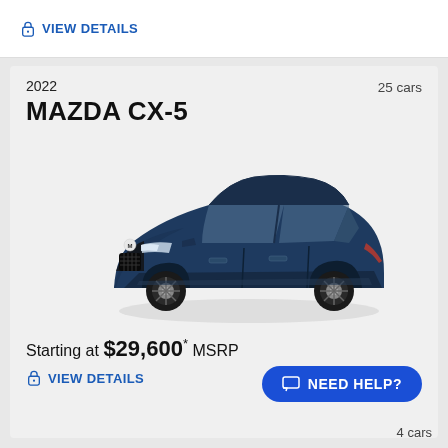VIEW DETAILS
25 cars
2022 MAZDA CX-5
[Figure (photo): 2022 Mazda CX-5 dark navy blue SUV shown in three-quarter front view]
Starting at $29,600* MSRP
VIEW DETAILS
NEED HELP?
4 cars